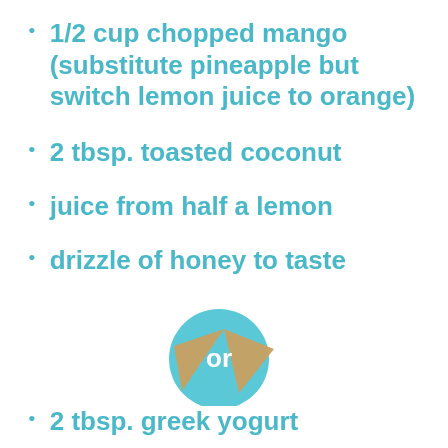1/2 cup chopped mango (substitute pineapple but switch lemon juice to orange)
2 tbsp. toasted coconut
juice from half a lemon
drizzle of honey to taste
[Figure (illustration): A teal/light blue circle with two triangular cracker/chip pieces overlapping it, and the word 'or' in white text in the center.]
2 tbsp. greek yogurt